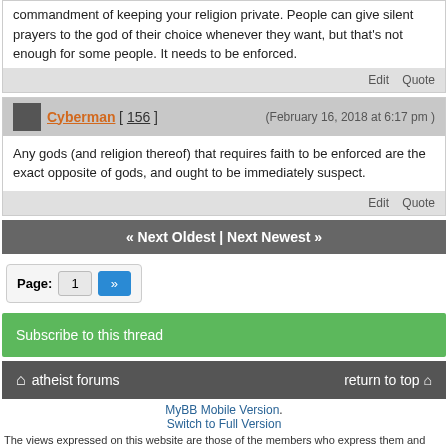commandment of keeping your religion private. People can give silent prayers to the god of their choice whenever they want, but that's not enough for some people. It needs to be enforced.
Edit   Quote
Cyberman [ 156 ]   (February 16, 2018 at 6:17 pm )
Any gods (and religion thereof) that requires faith to be enforced are the exact opposite of gods, and ought to be immediately suspect.
Edit   Quote
« Next Oldest | Next Newest »
Page:  1  »
Subscribe to this thread
atheist forums   return to top
MyBB Mobile Version. Switch to Full Version
The views expressed on this website are those of the members who express them and